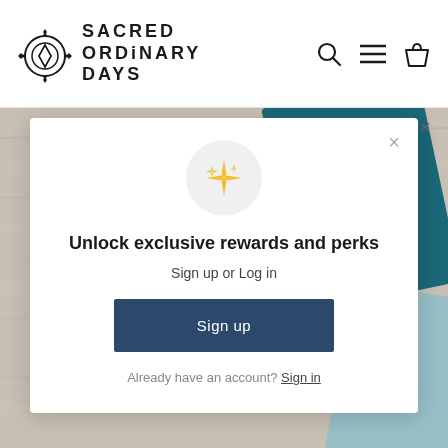[Figure (logo): Sacred Ordinary Days compass logo with cross symbol]
SACRED ORDINARY DAYS
[Figure (screenshot): Website header with search, menu, and cart icons on right]
[Figure (photo): Background photo of teal/dark blue journal on wood surface, with close X button]
[Figure (infographic): Modal popup: sparkle icon in circle, Unlock exclusive rewards and perks title, Sign up or Log in subtitle, Sign up button, Already have an account? Sign in link]